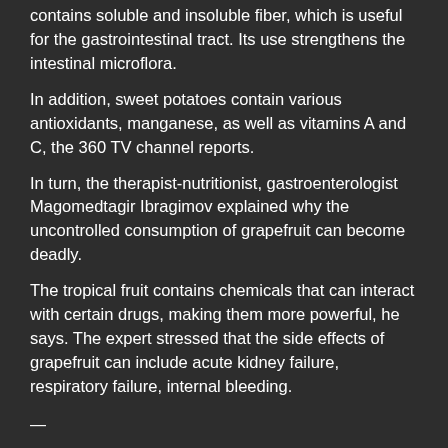contains soluble and insoluble fiber, which is useful for the gastrointestinal tract. Its use strengthens the intestinal microflora.
In addition, sweet potatoes contain various antioxidants, manganese, as well as vitamins A and C, the 360 TV channel reports.
In turn, the therapist-nutritionist, gastroenterologist Magomedtagir Ibragimov explained why the uncontrolled consumption of grapefruit can become deadly.
The tropical fruit contains chemicals that can interact with certain drugs, making them more powerful, he says. The expert stressed that the side effects of grapefruit can include acute kidney failure, respiratory failure, internal bleeding.
—